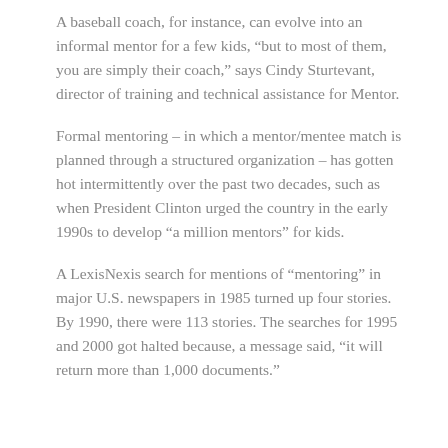A baseball coach, for instance, can evolve into an informal mentor for a few kids, “but to most of them, you are simply their coach,” says Cindy Sturtevant, director of training and technical assistance for Mentor.
Formal mentoring – in which a mentor/mentee match is planned through a structured organization – has gotten hot intermittently over the past two decades, such as when President Clinton urged the country in the early 1990s to develop “a million mentors” for kids.
A LexisNexis search for mentions of “mentoring” in major U.S. newspapers in 1985 turned up four stories. By 1990, there were 113 stories. The searches for 1995 and 2000 got halted because, a message said, “it will return more than 1,000 documents.”